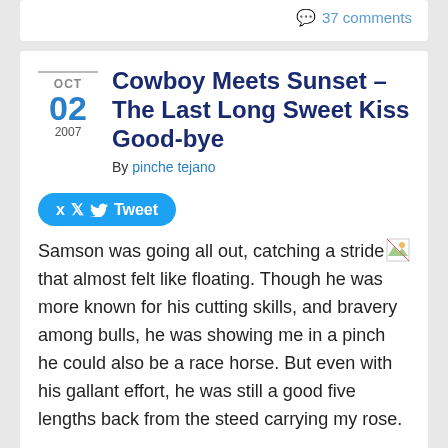37 comments
Cowboy Meets Sunset – The Last Long Sweet Kiss Good-bye
By pinche tejano
Tweet
Samson was going all out, catching a stride that almost felt like floating. Though he was more known for his cutting skills, and bravery among bulls, he was showing me in a pinch he could also be a race horse. But even with his gallant effort, he was still a good five lengths back from the steed carrying my rose.
Down we galloped into valley, playing lover's games, rode down tree-lined country lanes. She would look back, her long black hair flowing like nozes lit by an